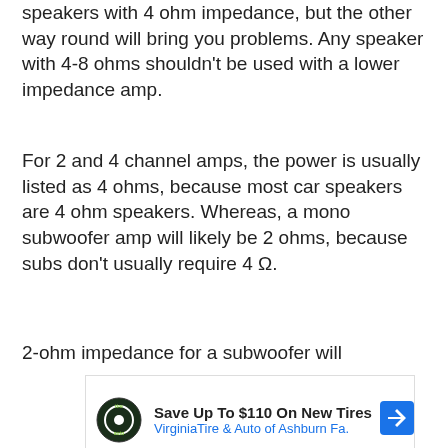speakers with 4 ohm impedance, but the other way round will bring you problems. Any speaker with 4-8 ohms shouldn't be used with a lower impedance amp.
For 2 and 4 channel amps, the power is usually listed as 4 ohms, because most car speakers are 4 ohm speakers. Whereas, a mono subwoofer amp will likely be 2 ohms, because subs don't usually require 4 Ω.
2-ohm impedance for a subwoofer will
[Figure (other): Advertisement banner for Virginia Tire & Auto of Ashburn Fa. showing logo, text 'Save Up To $110 On New Tires' and a blue direction arrow icon.]